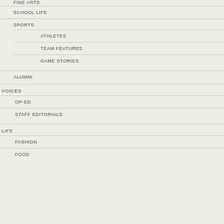FINE ARTS
SCHOOL LIFE
SPORTS
ATHLETES
TEAM FEATURES
GAME STORIES
ALUMNI
VOICES
OP-ED
STAFF EDITORIALS
LIFE
FASHION
FOOD